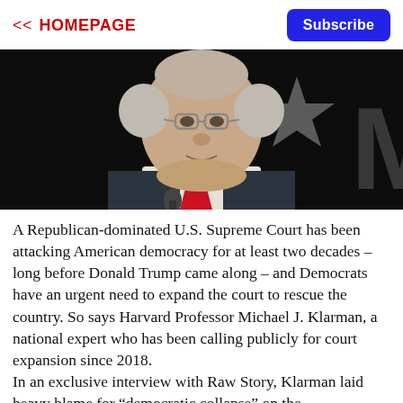<< HOMEPAGE  Subscribe
[Figure (photo): Close-up photograph of an elderly man in a dark suit and red tie, wearing glasses, speaking at a podium against a dark background with a star emblem and large letter M]
A Republican-dominated U.S. Supreme Court has been attacking American democracy for at least two decades – long before Donald Trump came along – and Democrats have an urgent need to expand the court to rescue the country. So says Harvard Professor Michael J. Klarman, a national expert who has been calling publicly for court expansion since 2018.
In an exclusive interview with Raw Story, Klarman laid heavy blame for “democratic collapse” on the